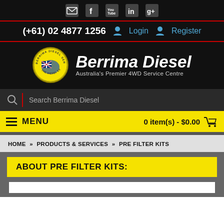Social icons: email, Facebook, YouTube, LinkedIn, Google+
(+61) 02 4877 1256  Login  Register
[Figure (logo): Berrima Diesel Service logo — circular badge with Australian map and diesel engine on yellow background, text: BERRIMA DIESEL SERVICE / THE DIESEL EXPERTS]
Berrima Diesel — Australia's Premier 4WD Service Centre
Search Berrima Diesel
MENU   0 item(s) - $0.00
HOME » PRODUCTS & SERVICES » PRE FILTER KITS
ABOUT PRE FILTER KITS: